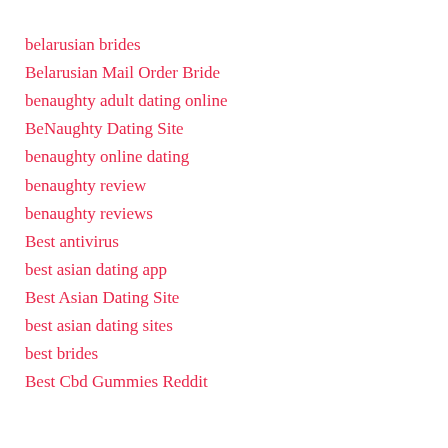belarusian brides
Belarusian Mail Order Bride
benaughty adult dating online
BeNaughty Dating Site
benaughty online dating
benaughty review
benaughty reviews
Best antivirus
best asian dating app
Best Asian Dating Site
best asian dating sites
best brides
Best Cbd Gummies Reddit